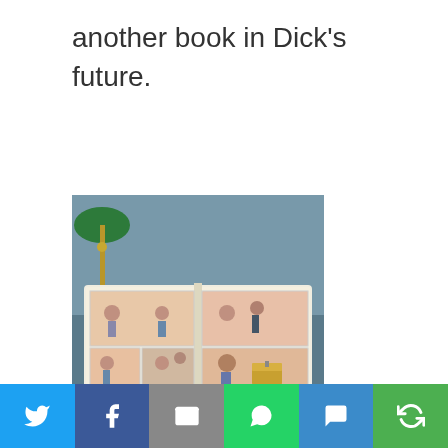another book in Dick's future.
[Figure (photo): A person holding open a comic book showing illustrated panels with characters in various scenes including figures on a bench, a man with a beard, a treasure chest, and a face with angry eyes. A green desk lamp is visible in the background.]
For fans of Philip K. Dick.
[Figure (infographic): Social media share bar with six buttons: Twitter (blue bird icon), Facebook (blue f icon), Email (grey envelope icon), WhatsApp (green phone icon), SMS (blue sms icon), More (green circular arrows icon).]